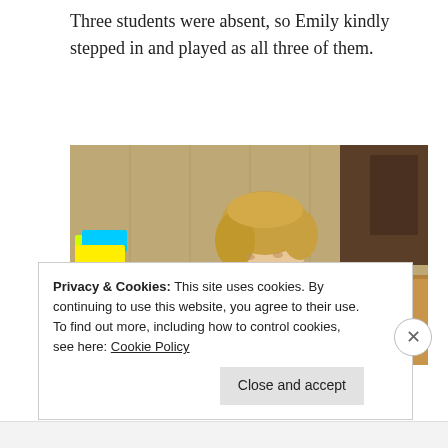Three students were absent, so Emily kindly stepped in and played as all three of them.
[Figure (photo): A young blonde woman in a grey puffer jacket and dark red scarf sits at a wooden desk, looking down and writing on papers. Colorful trays and classroom materials are visible in the background.]
Privacy & Cookies: This site uses cookies. By continuing to use this website, you agree to their use.
To find out more, including how to control cookies, see here: Cookie Policy